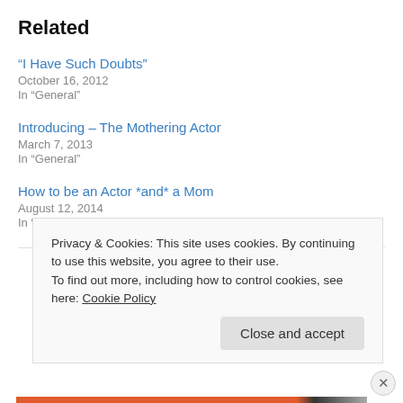Related
“I Have Such Doubts”
October 16, 2012
In “General”
Introducing – The Mothering Actor
March 7, 2013
In “General”
How to be an Actor *and* a Mom
August 12, 2014
In “General”
Privacy & Cookies: This site uses cookies. By continuing to use this website, you agree to their use.
To find out more, including how to control cookies, see here: Cookie Policy